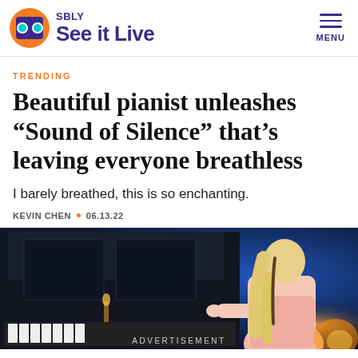SBLY See it Live
TRENDING
Beautiful pianist unleashes “Sound of Silence” that’s leaving everyone breathless
I barely breathed, this is so enchanting.
KEVIN CHEN • 06.13.22
[Figure (photo): A blonde woman in a light pink t-shirt playing a dark grand piano on a blue-lit stage, viewed from behind/side angle]
ADVERTISEMENT